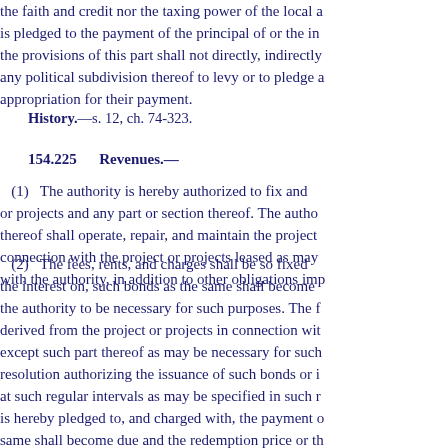the faith and credit nor the taxing power of the local a is pledged to the payment of the principal of or the in the provisions of this part shall not directly, indirectly any political subdivision thereof to levy or to pledge a appropriation for their payment.
History.—s. 12, ch. 74-323.
154.225      Revenues.—
(1)   The authority is hereby authorized to fix and or projects and any part or section thereof. The autho thereof shall operate, repair, and maintain the project connection with the project or projects leased as may with the authority, in addition to other obligations imp
(2)   The fees, rents, and charges shall be so fixed the interest on, such bonds as the same shall become the authority to be necessary for such purposes. The f derived from the project or projects in connection wit except such part thereof as may be necessary for such resolution authorizing the issuance of such bonds or i at such regular intervals as may be specified in such r is hereby pledged to, and charged with, the payment o same shall become due and the redemption price or th therein provided. Such pledge shall be valid and bind